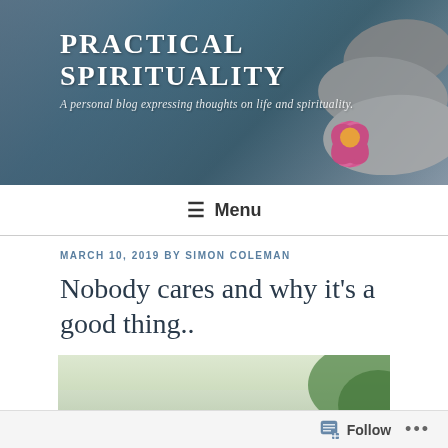PRACTICAL SPIRITUALITY
A personal blog expressing thoughts on life and spirituality.
[Figure (photo): Header banner with lotus flower, zen stones, and teal/blue background]
≡ Menu
MARCH 10, 2019 BY SIMON COLEMAN
Nobody cares and why it's a good thing..
[Figure (photo): Close-up photo of a green leaf on a beach with blurred ocean background]
Follow ...